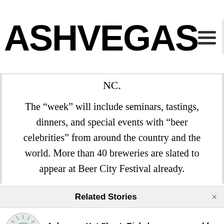ASHVEGAS
NC.
The “week” will include seminars, tastings, dinners, and special events with “beer celebrities” from around the country and the world. More than 40 breweries are slated to appear at Beer City Festival already.
Related Stories
Ashvegas Hot Sheet: Rickshaws proposed for downtown Asheville